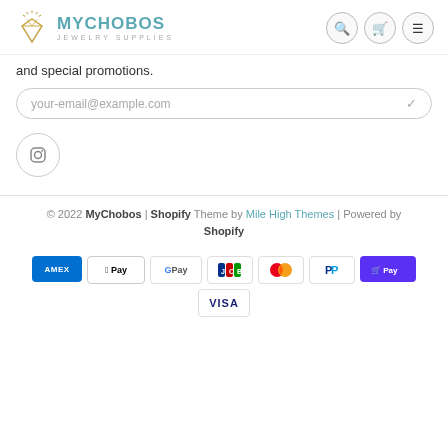MYCHOBOS JEWELRY SUPPLIES
and special promotions.
your-email@example.com
[Figure (logo): Instagram icon in circle]
© 2022 MyChobos | Shopify Theme by Mile High Themes | Powered by Shopify
[Figure (other): Payment method icons: American Express, Apple Pay, Google Pay, JCB, Mastercard, PayPal, Shop Pay, Visa]